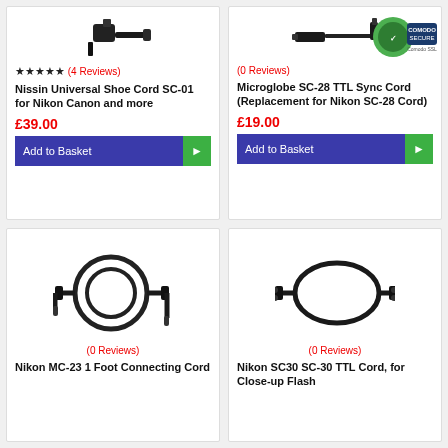[Figure (photo): Nissin Universal Shoe Cord SC-01 product image - cable adapter]
★★★★★ (4 Reviews)
Nissin Universal Shoe Cord SC-01 for Nikon Canon and more
£39.00
Add to Basket
[Figure (photo): Microglobe SC-28 TTL Sync Cord product image]
[Figure (logo): Comodo Secure SSL badge]
(0 Reviews)
Microglobe SC-28 TTL Sync Cord (Replacement for Nikon SC-28 Cord)
£19.00
Add to Basket
[Figure (photo): Nikon MC-23 1 Foot Connecting Cord product image - coiled cable]
(0 Reviews)
Nikon MC-23 1 Foot Connecting Cord
[Figure (photo): Nikon SC30 SC-30 TTL Cord product image - cable]
(0 Reviews)
Nikon SC30 SC-30 TTL Cord, for Close-up Flash